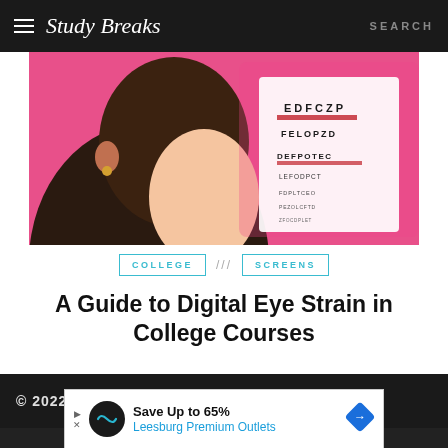Study Breaks  SEARCH
[Figure (illustration): Illustration of a person with natural hair in profile view against a pink background with an eye chart showing letters EDFCZP, FELOPZD, DEFPOTEC and smaller lines below]
COLLEGE  ///  SCREENS
A Guide to Digital Eye Strain in College Courses
© 2022 STUDY BREAKS
[Figure (other): Advertisement banner: Save Up to 65% Leesburg Premium Outlets]